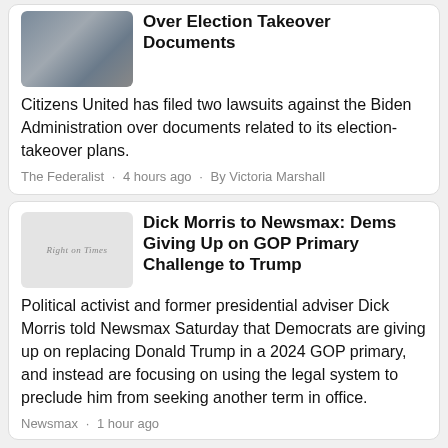Over Election Takeover Documents
Citizens United has filed two lawsuits against the Biden Administration over documents related to its election-takeover plans.
The Federalist · 4 hours ago · By Victoria Marshall
Dick Morris to Newsmax: Dems Giving Up on GOP Primary Challenge to Trump
Political activist and former presidential adviser Dick Morris told Newsmax Saturday that Democrats are giving up on replacing Donald Trump in a 2024 GOP primary, and instead are focusing on using the legal system to preclude him from seeking another term in office.
Newsmax · 1 hour ago